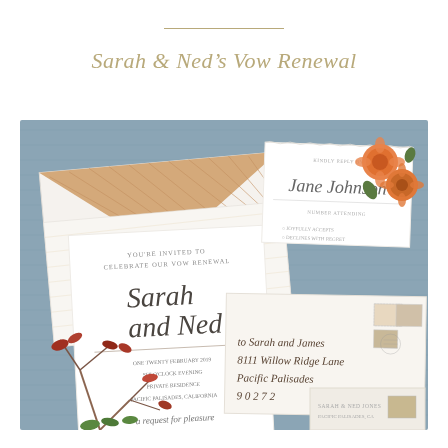Sarah & Ned's Vow Renewal
[Figure (photo): Flat lay photograph of a wedding stationery suite on a dusty blue linen background. Items include: an open white envelope with a wood-grain liner, a white wedding invitation card with calligraphy reading 'Sarah and Ned', an RSVP card with cursive text, a mailed envelope with vintage stamps and calligraphy address, small orange/coral flowers (zinnias), and autumn branches with foliage.]